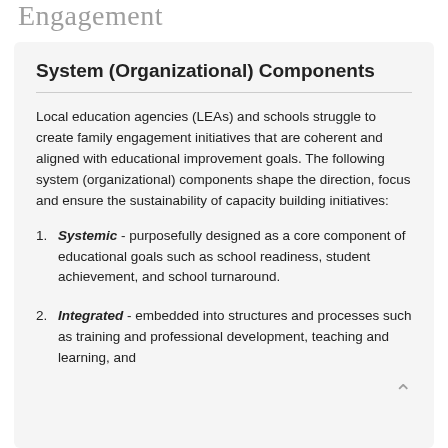Engagement
System (Organizational) Components
Local education agencies (LEAs) and schools struggle to create family engagement initiatives that are coherent and aligned with educational improvement goals. The following system (organizational) components shape the direction, focus and ensure the sustainability of capacity building initiatives:
Systemic - purposefully designed as a core component of educational goals such as school readiness, student achievement, and school turnaround.
Integrated - embedded into structures and processes such as training and professional development, teaching and learning, and…